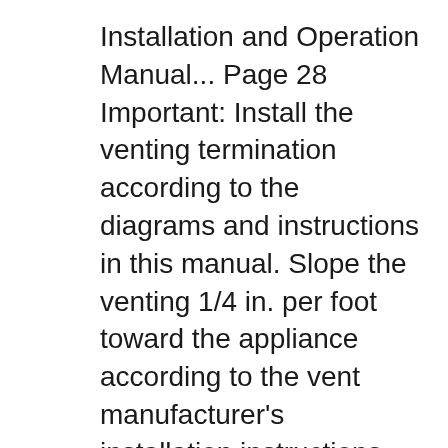Installation and Operation Manual... Page 28 Important: Install the venting termination according to the diagrams and instructions in this manual. Slope the venting 1/4 in. per foot toward the appliance according to the vent manufacturer's installation instructions. Dispose of condensate per local codes. Rinnai
Rinnai RHFE433RWTA Manuals & User Guides. User Manuals, Guides and Specifications for your Rinnai RHFE433RWTA Heater. Database contains 2 Rinnai RHFE433RWTA Manuals (available for free online viewing or downloading in PDF): Service manual, Brochure & specs. Rinnai